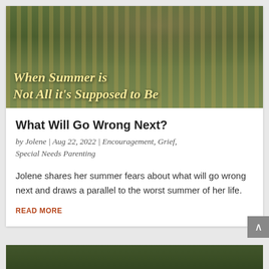[Figure (photo): Hero image of an old rusty vintage truck or vehicle grill and hood, with tall green grass in the background. Text overlay reads 'When Summer is Not All it's Supposed to Be' in italic serif font.]
When Summer is Not All it's Supposed to Be
What Will Go Wrong Next?
by Jolene | Aug 22, 2022 | Encouragement, Grief, Special Needs Parenting
Jolene shares her summer fears about what will go wrong next and draws a parallel to the worst summer of her life.
READ MORE
[Figure (photo): Partial view of another blog post hero image showing people outdoors in a green park or playground setting.]